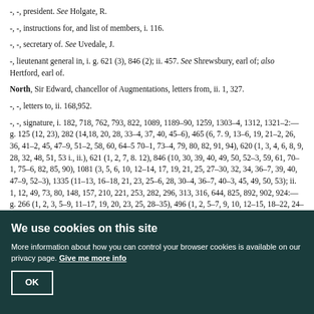-, -, president. See Holgate, R.
-, -, instructions for, and list of members, i. 116.
-, -, secretary of. See Uvedale, J.
-, lieutenant general in, i. g. 621 (3), 846 (2); ii. 457. See Shrewsbury, earl of; also Hertford, earl of.
North, Sir Edward, chancellor of Augmentations, letters from, ii. 1, 327.
-, -, letters to, ii. 168,952.
-, -, signature, i. 182, 718, 762, 793, 822, 1089, 1189–90, 1259, 1303–4, 1312, 1321–2:—g. 125 (12, 23), 282 (14,18, 20, 28, 33–4, 37, 40, 45–6), 465 (6, 7. 9, 13–6, 19, 21–2, 26, 36, 41–2, 45, 47–9, 51–2, 58, 60, 64–5 70–1, 73–4, 79, 80, 82, 91, 94), 620 (1, 3, 4, 6, 8, 9, 28, 32, 48, 51, 53 i., ii.), 621 (1, 2, 7, 8. 12), 846 (10, 30, 39, 40, 49, 50, 52–3, 59, 61, 70–1, 75–6, 82, 85, 90), 1081 (3, 5, 6, 10, 12–14, 17, 19, 21, 25, 27–30, 32, 34, 36–7, 39, 40, 47–9, 52–3), 1335 (11–13, 16–18, 21, 23, 25–6, 28, 30–4, 36–7, 40–3, 45, 49, 50, 53); ii. 1, 12, 49, 73, 80, 148, 157, 210, 221, 253, 282, 296, 313, 316, 644, 825, 892, 902, 924:—g. 266 (1, 2, 3, 5–9, 11–17, 19, 20, 23, 25, 28–35), 496 (1, 2, 5–7, 9, 10, 12–15, 18–22, 24–8, 31, 34, 36, 38–9, 41–4, 46, 49, 50, 54–8, 61, 66)
We use cookies on this site
More information about how you can control your browser cookies is available on our privacy page. Give me more info
OK